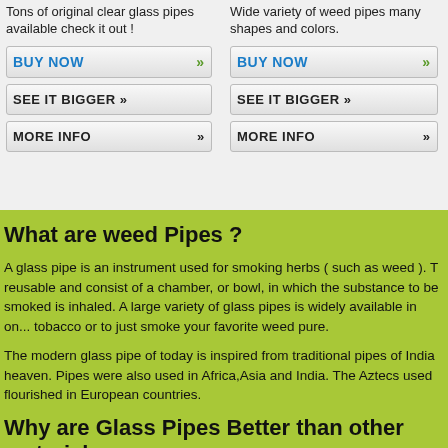Tons of original clear glass pipes available check it out !
Wide variety of weed pipes many shapes and colors.
BUY NOW »
BUY NOW »
SEE IT BIGGER »
SEE IT BIGGER »
MORE INFO »
MORE INFO »
What are weed Pipes ?
A glass pipe is an instrument used for smoking herbs ( such as weed ). They are reusable and consist of a chamber, or bowl, in which the substance to be smoked is inhaled. A large variety of glass pipes is widely available in on... tobacco or to just smoke your favorite weed pure.
The modern glass pipe of today is inspired from traditional pipes of India... heaven. Pipes were also used in Africa,Asia and India. The Aztecs used ... flourished in European countries.
Why are Glass Pipes Better than other materials